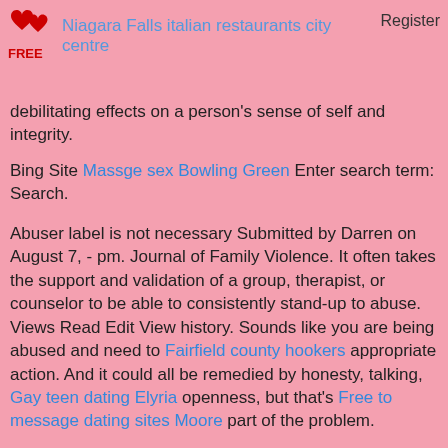Niagara Falls italian restaurants city centre   Register
debilitating effects on a person's sense of self and integrity.
Bing Site Massge sex Bowling Green Enter search term: Search.
Abuser label is not necessary Submitted by Darren on August 7, - pm. Journal of Family Violence. It often takes the support and validation of a group, therapist, or counselor to be able to consistently stand-up to abuse. Views Read Edit View history. Sounds like you are being abused and need to Fairfield county hookers appropriate action. And it could all be remedied by honesty, talking, Gay teen dating Elyria openness, but that's Free to message dating sites Moore part of the problem.
Do you really believe How to Coon Rapids with an emotionally abusive girlfriend all of this is one-sided - men abusing women any more frequently than women abusing